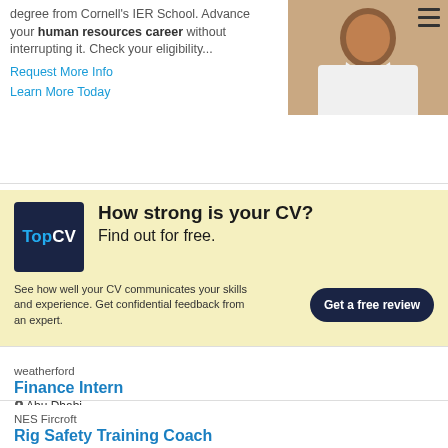degree from Cornell's IER School. Advance your human resources career without interrupting it. Check your eligibility...
Request More Info
Learn More Today
[Figure (photo): Photo of a smiling woman in a white shirt]
[Figure (infographic): TopCV advertisement banner with yellow background. Heading: How strong is your CV? Find out for free. Body: See how well your CV communicates your skills and experience. Get confidential feedback from an expert. Button: Get a free review]
weatherford
Finance Intern
Abu Dhabi
4 months ago
NES Fircroft
Rig Safety Training Coach
Dubai
2 months ago